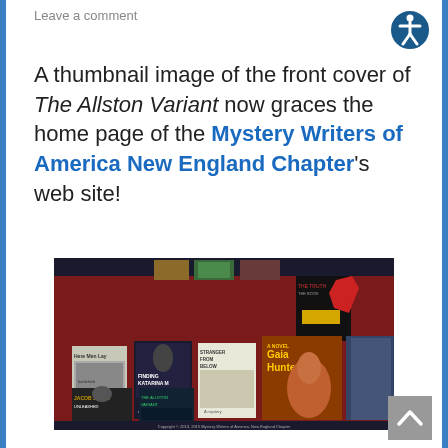Leave a comment
[Figure (screenshot): Website screenshot of Mystery Writers of America New England Chapter homepage showing book covers including Jacob Stone Unleashed, The Allston Variant, Finding Katarina M, Stranger from Below, Gaia Hunted, and others on a dark red background]
A thumbnail image of the front cover of The Allston Variant now graces the home page of the Mystery Writers of America New England Chapter's web site!